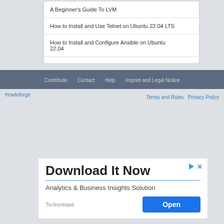A Beginner's Guide To LVM
How to Install and Use Telnet on Ubuntu 22.04 LTS
How to Install and Configure Ansible on Ubuntu 22.04
Contribute  Contact  Help  Imprint and Legal Notice
Howtoforge   Terms and Rules  Privacy Policy
[Figure (other): Advertisement banner: Download It Now - Analytics & Business Insights Solution, To-Increase, Open button]